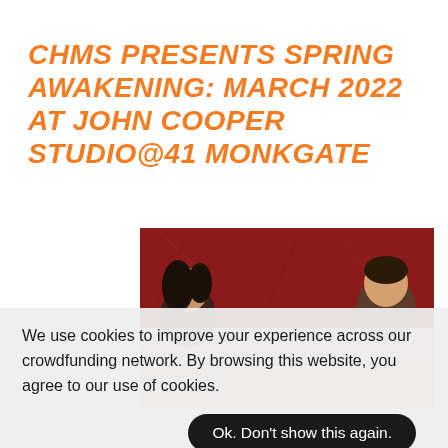CHMS PRESENTS SPRING AWAKENING: MARCH 2022 AT JOHN COOPER STUDIO@41 MONKGATE
[Figure (photo): Promotional photo for Spring Awakening musical showing performers against a dark red background, partially obscured by cookie consent overlay]
We use cookies to improve your experience across our crowdfunding network. By browsing this website, you agree to our use of cookies.
Ok. Don't show this again.